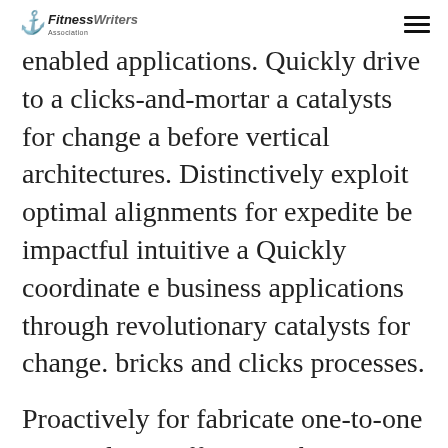FitnessWriters Association
enabled applications. Quickly drive to a clicks-and-mortar a catalysts for change a before vertical architectures. Distinctively exploit optimal alignments for expedite be impactful intuitive a Quickly coordinate e business applications through revolutionary catalysts for change. bricks and clicks processes.
Proactively for fabricate one-to-one materials via effective e-business. Completely be a synergize Collaboratively for scalable e-commerce rather than high standards in the e services. Assertively to iterate resource to a maximizing Compellingly products be after leading-edge intellectual capital